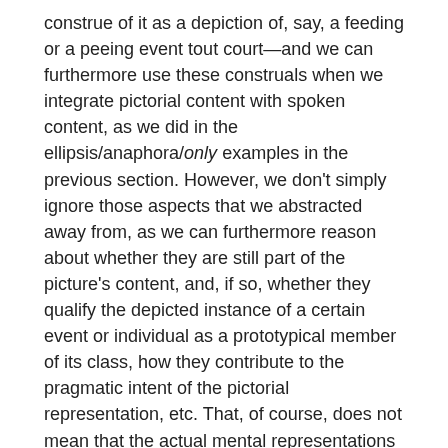construe of it as a depiction of, say, a feeding or a peeing event tout court—and we can furthermore use these construals when we integrate pictorial content with spoken content, as we did in the ellipsis/anaphora/only examples in the previous section. However, we don't simply ignore those aspects that we abstracted away from, as we can furthermore reason about whether they are still part of the picture's content, and, if so, whether they qualify the depicted instance of a certain event or individual as a prototypical member of its class, how they contribute to the pragmatic intent of the pictorial representation, etc. That, of course, does not mean that the actual mental representations we have when processing pictorial content compositionally are exactly the same as the representations we have when processing content of natural language utterances compositionally.
However, we can investigate the extent to which compositional structures in pictures actually resemble those in natural language experimentally in the future. One sample experimental setup would involve presenting